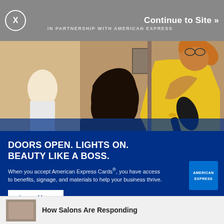[Figure (screenshot): Close button (X in circle) in top left of overlay]
IN PARTNERSHIP WITH AMERICAN EXPRESS
Continue to Site »
[Figure (photo): Hair salon scene: a woman in a yellow shirt blow-drying a client's dark hair, with another person visible in the background mirror]
DOORS OPEN. LIGHTS ON. BEAUTY LIKE A BOSS.
When you accept American Express Cards®, you have access to benefits, signage, and materials to help your business thrive.
Learn More
[Figure (logo): American Express logo (blue square with AMERICAN EXPRESS text in white)]
How Salons Are Responding